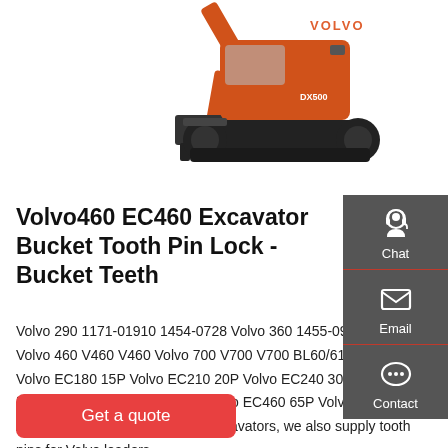[Figure (photo): Orange Volvo excavator (partial view showing bucket arm and undercarriage/tracks) on white background]
Volvo460 EC460 Excavator Bucket Tooth Pin Lock - Bucket Teeth
Volvo 290 1171-01910 1454-0728 Volvo 360 1455-0967 1 0968 Volvo 460 V460 V460 Volvo 700 V700 V700 BL60/61-70/71 5/8P Volvo EC180 15P Volvo EC210 20P Volvo EC240 30P Volvo EC290 40P Volvo EC360 55P Volvo EC460 65P Volvo EC700 80P Apart from tooth pins for Volvo excavators, we also supply tooth pins for Volvo loaders.
Get a quote